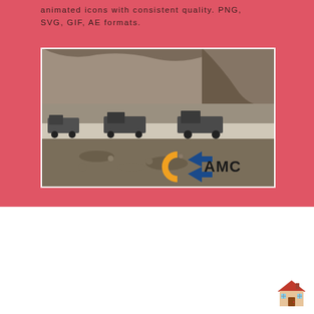animated icons with consistent quality. PNG, SVG, GIF, AE formats.
[Figure (photo): Black and white photograph of mining or quarry trucks/equipment lined up along a road with rocky cliff face in background. AMC logo overlaid in bottom right corner. Live Chat bubble overlay in upper right area of photo.]
[Figure (illustration): Small house/building emoji icon in bottom right of page]